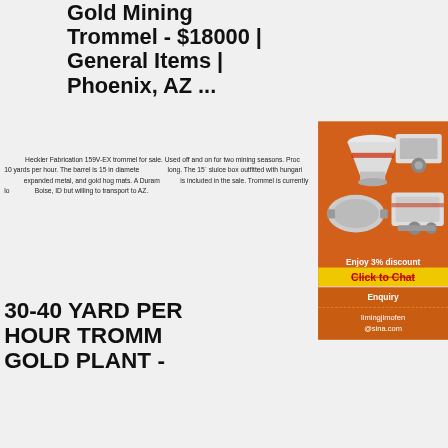Gold Mining Trommel - $18000 | General Items | Phoenix, AZ ...
Heckler Fabrication 159V-EX trommel for sale. Used off and on for two mining seasons. Processes 10 yards per hour. The barrel is 15 in diameter and 8 ft long. The 15` sluice box outfitted with hungarian riffles, expanded metal, and gold hog mats. A Duram pump is included in the sale. Trommel is currently located in Boise, ID but willing to transport to AZ.
[Figure (illustration): Orange advertisement panel with mining machinery images (cone crusher, jaw crusher, ball mill), discount text 'Enjoy 3% discount', yellow 'Click to Chat' button, 'Enquiry' button, and email limingjlmofen@sina.com]
30-40 YARD PER HOUR TROMMEL GOLD PLANT -